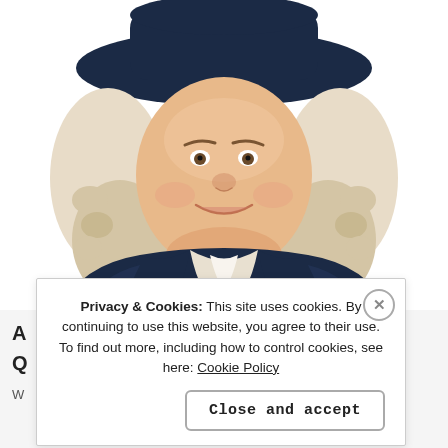[Figure (illustration): Illustration of the Quaker Oats man mascot — a smiling man with white curly hair, wearing a dark navy colonial coat with a white ruffled collar and a wide-brimmed dark navy hat, depicted from the torso up against a white background.]
Privacy & Cookies: This site uses cookies. By continuing to use this website, you agree to their use.
To find out more, including how to control cookies, see here: Cookie Policy
Close and accept